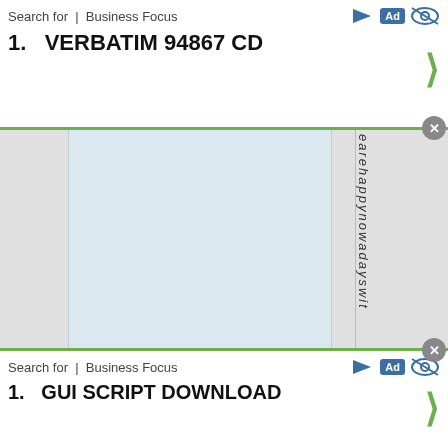Search for | Business Focus
1.   VERBATIM 94867 CD
[Figure (screenshot): Web search result page with two ad bars (top: VERBATIM 94867 CD, bottom: GUI SCRIPT DOWNLOAD) and a middle content area with a light blue column and vertical italic text reading 'earehappynowadayswith']
Search for | Business Focus
1.   GUI SCRIPT DOWNLOAD